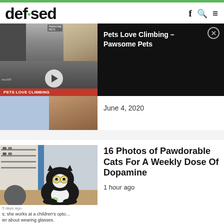defused
[Figure (screenshot): Video thumbnail showing pets climbing, with play button overlay and orange 'PETS LOVE CLIMBING' banner]
Pets Love Climbing – Pawsome Pets
June 4, 2020
[Figure (photo): Photo of a black and white cat wearing small round glasses, sitting on a desk in what appears to be a children's optical store]
5 days ago
s; she works at a children's opto…
er about wearing glasses.
16 Photos of Pawdorable Cats For A Weekly Dose Of Dopamine
1 hour ago